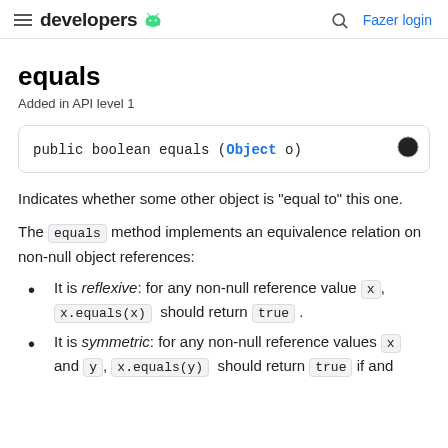developers | Fazer login
equals
Added in API level 1
public boolean equals (Object o)
Indicates whether some other object is "equal to" this one.
The equals method implements an equivalence relation on non-null object references:
It is reflexive: for any non-null reference value x, x.equals(x) should return true.
It is symmetric: for any non-null reference values x and y, x.equals(y) should return true if and